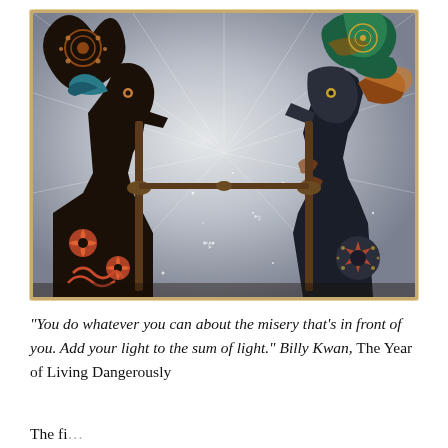[Figure (photo): Two Javanese wayang kulit (shadow puppet) figures facing each other against a luminous background with radiating light rays and sparkling stars. The puppets are highly detailed with ornate patterns in black, copper/brown, and teal/green colors. The left puppet has a curved decorative top piece with circular patterns and flower motifs on the lower body. The right puppet has a green headdress with feather-like extensions. The image has a warm golden border giving it an aged, antique appearance.]
“You do whatever you can about the misery that’s in front of you. Add your light to the sum of light.” Billy Kwan, The Year of Living Dangerously
Thefi...